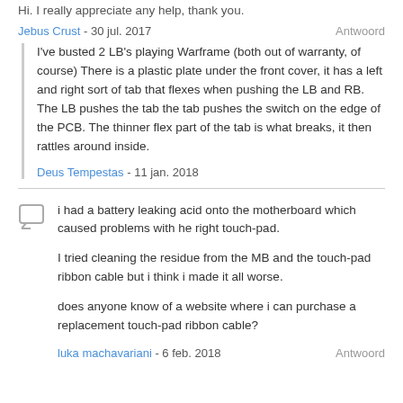Hi. I really appreciate any help, thank you.
Jebus Crust - 30 jul. 2017   Antwoord
I've busted 2 LB's playing Warframe (both out of warranty, of course) There is a plastic plate under the front cover, it has a left and right sort of tab that flexes when pushing the LB and RB. The LB pushes the tab the tab pushes the switch on the edge of the PCB. The thinner flex part of the tab is what breaks, it then rattles around inside.
Deus Tempestas - 11 jan. 2018
i had a battery leaking acid onto the motherboard which caused problems with he right touch-pad.
I tried cleaning the residue from the MB and the touch-pad ribbon cable but i think i made it all worse.
does anyone know of a website where i can purchase a replacement touch-pad ribbon cable?
luka machavariani - 6 feb. 2018   Antwoord